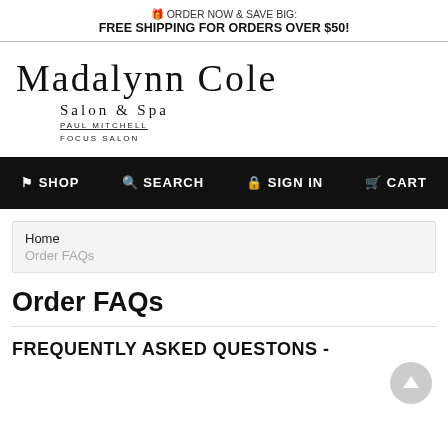🎁 ORDER NOW & SAVE BIG: FREE SHIPPING FOR ORDERS OVER $50!
[Figure (logo): Madalynn Cole Salon & Spa - Paul Mitchell Focus Salon logo with cursive script and serif text]
SHOP  SEARCH  SIGN IN  CART
Home
Order FAQs
Order FAQs
FREQUENTLY ASKED QUESTONS -